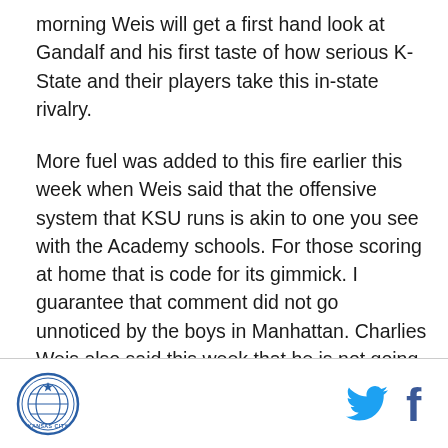morning Weis will get a first hand look at Gandalf and his first taste of how serious K-State and their players take this in-state rivalry.
More fuel was added to this fire earlier this week when Weis said that the offensive system that KSU runs is akin to one you see with the Academy schools. For those scoring at home that is code for its gimmick. I guarantee that comment did not go unnoticed by the boys in Manhattan. Charlies Weis also said this week that he is not going to play conservative to keep the score close. He would rather lose by a 100 trying to win then just playing to save face. Well, it won't be a hundred but a smack down in the Little Apple is coming
[Figure (logo): Kansas City logo — circular badge with blue outline and text 'KANSAS CITY']
[Figure (illustration): Twitter bird icon and Facebook 'f' icon in footer]